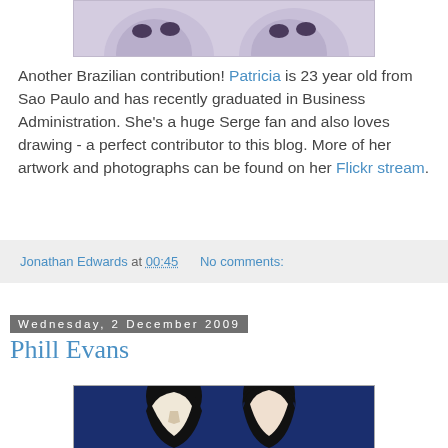[Figure (illustration): Partial view of illustrated artwork showing faces in purple/lavender tones - top portion only visible]
Another Brazilian contribution! Patricia is 23 year old from Sao Paulo and has recently graduated in Business Administration. She's a huge Serge fan and also loves drawing - a perfect contributor to this blog. More of her artwork and photographs can be found on her Flickr stream.
Jonathan Edwards at 00:45   No comments:
Wednesday, 2 December 2009
Phill Evans
[Figure (illustration): Pop-art style illustration of two people facing each other (man and woman) on dark blue background, black and white graphic style]